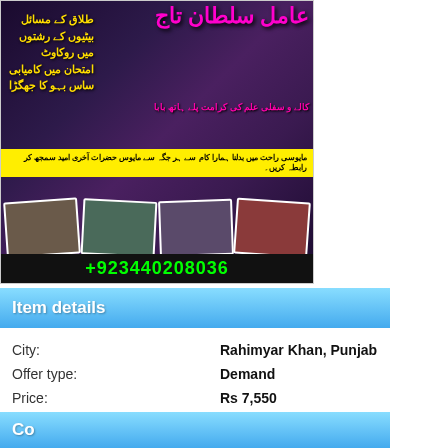[Figure (photo): Urdu language advertisement image with pink and yellow text on dark background, showing services, small photos of people, and phone number +923440208036]
Item details
| City: | Rahimyar Khan, Punjab |
| Offer type: | Demand |
| Price: | Rs 7,550 |
Contact